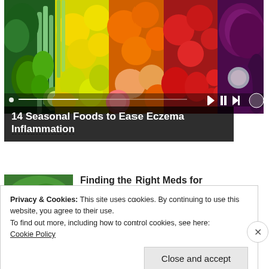[Figure (photo): Colorful array of fresh seasonal vegetables and fruits arranged in a rainbow pattern including green vegetables (celery, peppers, broccoli, kiwi), yellow citrus and squash, orange peppers and oranges, red tomatoes and peppers, and purple cabbage and eggplant.]
14 Seasonal Foods to Ease Eczema Inflammation
[Figure (photo): Partial view of a person holding something green, thumbnail image for article about Finding the Right Meds for Your PsO Skin]
Finding the Right Meds for Your PsO Skin
Privacy & Cookies: This site uses cookies. By continuing to use this website, you agree to their use.
To find out more, including how to control cookies, see here:
Cookie Policy
Close and accept